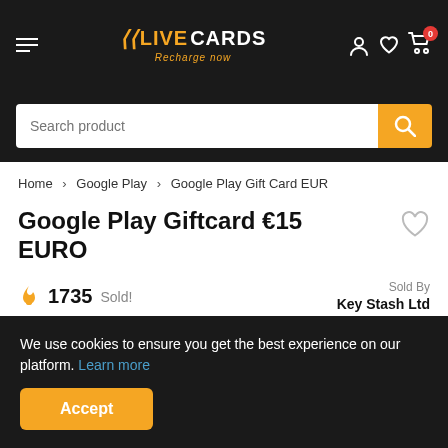LiveCards - Recharge now
Search product
Home > Google Play > Google Play Gift Card EUR
Google Play Giftcard €15 EURO
1735 Sold! Sold By Key Stash Ltd
We use cookies to ensure you get the best experience on our platform. Learn more
Accept